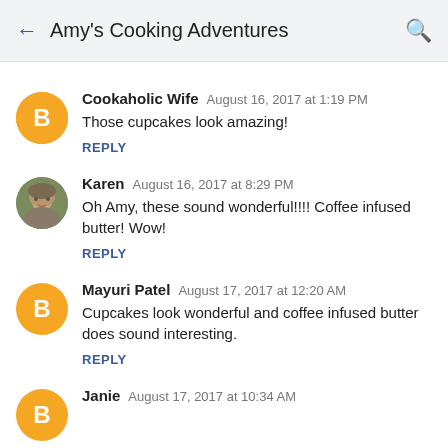Amy's Cooking Adventures
Cookaholic Wife  August 16, 2017 at 1:19 PM
Those cupcakes look amazing!
REPLY
Karen  August 16, 2017 at 8:29 PM
Oh Amy, these sound wonderful!!!! Coffee infused butter! Wow!
REPLY
Mayuri Patel  August 17, 2017 at 12:20 AM
Cupcakes look wonderful and coffee infused butter does sound interesting.
REPLY
Janie  August 17, 2017 at 10:34 AM